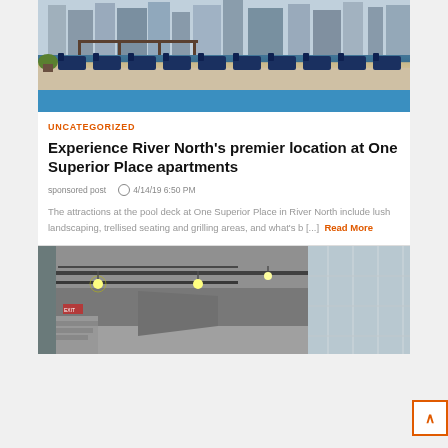[Figure (photo): Rooftop pool deck with blue lounge chairs, landscaping, and city skyline in background at One Superior Place, River North]
UNCATEGORIZED
Experience River North's premier location at One Superior Place apartments
sponsored post   4/14/19 6:50 PM
The attractions at the pool deck at One Superior Place in River North include lush landscaping, trellised seating and grilling areas, and what's b [...] Read More
[Figure (photo): Interior corridor or garage area with industrial ceiling, exposed pipes, pendant lights, and glass wall panels]